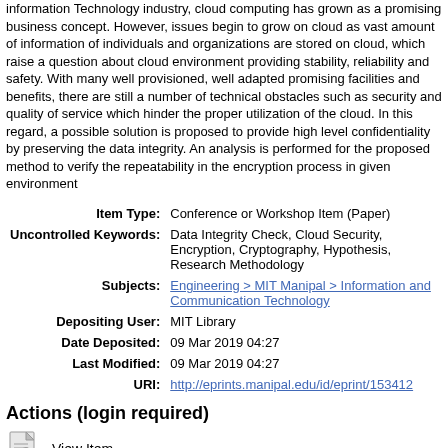information Technology industry, cloud computing has grown as a promising business concept. However, issues begin to grow on cloud as vast amount of information of individuals and organizations are stored on cloud, which raise a question about cloud environment providing stability, reliability and safety. With many well provisioned, well adapted promising facilities and benefits, there are still a number of technical obstacles such as security and quality of service which hinder the proper utilization of the cloud. In this regard, a possible solution is proposed to provide high level confidentiality by preserving the data integrity. An analysis is performed for the proposed method to verify the repeatability in the encryption process in given environment
| Item Type: | Conference or Workshop Item (Paper) |
| Uncontrolled Keywords: | Data Integrity Check, Cloud Security, Encryption, Cryptography, Hypothesis, Research Methodology |
| Subjects: | Engineering > MIT Manipal > Information and Communication Technology |
| Depositing User: | MIT Library |
| Date Deposited: | 09 Mar 2019 04:27 |
| Last Modified: | 09 Mar 2019 04:27 |
| URI: | http://eprints.manipal.edu/id/eprint/153412 |
Actions (login required)
[Figure (other): View Item icon - document with magnifying glass]
View Item